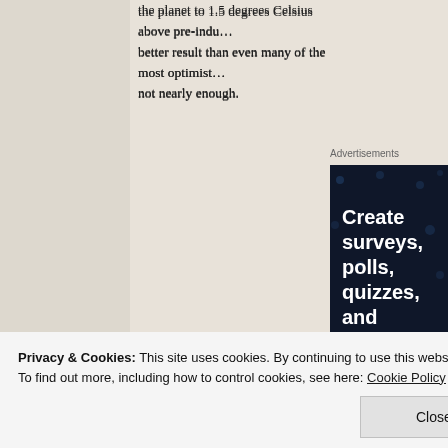the planet to 1.5 degrees Celsius above pre-industrial levels — a better result than even many of the most optimistic hoped for, but not nearly enough.
[Figure (screenshot): Advertisement banner with dark navy background showing text 'Create surveys, polls, quizzes, and forms.' with a pink 'Start now' button and WordPress logo at bottom.]
Privacy & Cookies: This site uses cookies. By continuing to use this website, you agree to their use.
To find out more, including how to control cookies, see here: Cookie Policy
warming even if all measures were implemented